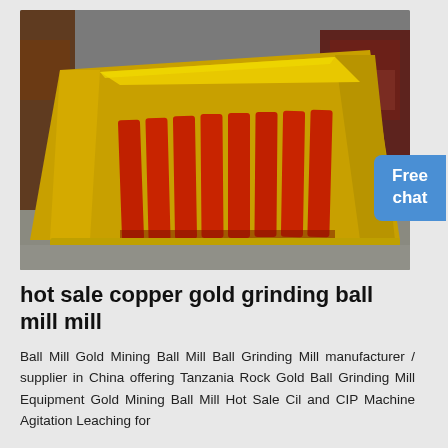[Figure (photo): Industrial mining equipment: a yellow metal vibrating feeder or chute with red painted steel bars/grates, sitting on a concrete factory floor. Brown industrial machinery visible in background.]
hot sale copper gold grinding ball mill mill
Ball Mill Gold Mining Ball Mill Ball Grinding Mill manufacturer / supplier in China offering Tanzania Rock Gold Ball Grinding Mill Equipment Gold Mining Ball Mill Hot Sale Cil and CIP Machine Agitation Leaching for